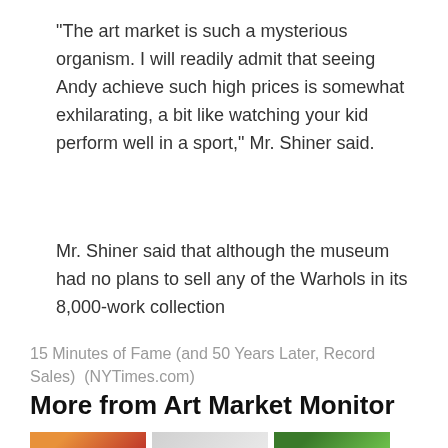“The art market is such a mysterious organism. I will readily admit that seeing Andy achieve such high prices is somewhat exhilarating, a bit like watching your kid perform well in a sport,” Mr. Shiner said.
Mr. Shiner said that although the museum had no plans to sell any of the Warhols in its 8,000-work collection
15 Minutes of Fame (and 50 Years Later, Record Sales) (NYTimes.com)
More from Art Market Monitor
[Figure (photo): Three small thumbnail images in a row at the bottom of the page]